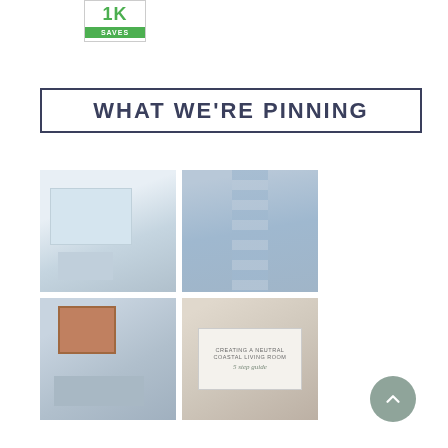[Figure (infographic): Pinterest-style badge showing '1K SAVES' with green text and green background label]
WHAT WE'RE PINNING
[Figure (photo): Coastal living room with white sofa, light blue accents, and fireplace niche]
[Figure (photo): Staircase with blue runner carpet and wooden railing]
[Figure (photo): Bathroom vanity with wood-framed mirror, wall sconces, and gray cabinets]
[Figure (infographic): Graphic overlay on coastal living room photo reading 'CREATING A NEUTRAL COASTAL LIVING ROOM 5 step guide']